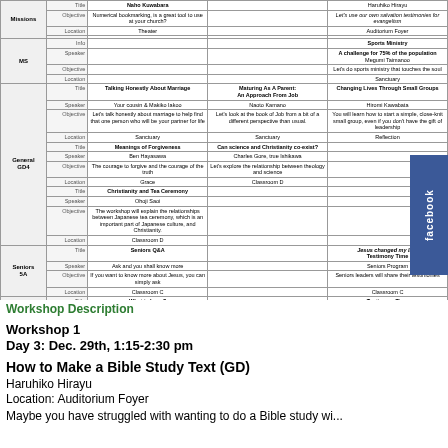| Category | Label | Column 1 | Column 2 | Column 3 |
| --- | --- | --- | --- | --- |
| Missions | Title | Naho Kuwabara |  | Haruhiko Hirayu |
| Missions | Objective | Numerical bookmarking, is a great tool to use at your church? |  | Let's use our own salvation testimonies for evangelism |
| Missions | Location | Theater |  | Auditorium Foyer |
| MS | Info |  |  | Sports Ministry |
| MS | Speaker |  |  | A challenge for 75% of the population |
| MS | Objective |  |  | Let's do sports ministry that touches the soul |
| MS | Location |  |  | Sanctuary |
| General GD4 | Title | Talking Honestly About Marriage | Maturing As A Parent: An Approach From Job | Changing Lives Through Small Groups |
| General GD4 | Speaker | Your cousin & Makiko Iakoo | Naoto Kamano | Hiromi Kawabata |
| General GD4 | Objective | Let's talk honestly about marriage to help find that one person who will be your partner for life | Let's look at the book of Job from a bit of a different perspective than usual. | You will learn how to start a simple, close-knit small group, even if you don't have the gift of leadership |
| General GD4 | Location | Sanctuary | Sanctuary | Reflection |
|  | Title | Meanings of Forgiveness | Can science and Christianity co-exist? |  |
|  | Speaker | Ben Hayasawa | Charles Gore, true Ishikawa |  |
|  | Objective | The courage to forgive and the courage of the truth | Let's explore the relationship between theology and science |  |
|  | Location | Grace | Classroom D |  |
|  | Title | Christianity and Tea Ceremony |  |  |
|  | Speaker | Ohoji Saoi |  |  |
|  | Objective | The workshop will explain the relationships between Japanese tea ceremony, which is an important part of Japanese culture, and Christianity. |  |  |
|  | Location | Classroom D |  |  |
| Seniors 5A | Title | Seniors Q&A |  | Jesus changed my life! Testimony Time |
| Seniors 5A | Speaker | Ask and you shall know more |  | Seniors Program |
| Seniors 5A | Objective | If you want to know more about Jesus, you can simply ask |  |  |
| Seniors 5A | Location | Classroom C |  | Classroom C |
| Youth 1Y | Title | What is Love? |  | Testimony Time |
| Youth 1Y | Speaker | Youth Program |  | Youth Program |
| Youth 1Y | Objective | Let's think together about what love is! |  | Let's share! |
| Youth 1Y | Location | Classroom A |  | Classroom A |
| AJC (English) | Title | Reaching Japanese as part of multi-cultural ministry | Evangelism in Japan | How English speakers can build relationships with Japanese |
| AJC (English) | Speaker | Tabi Iemba | Ana Lee | David Robson |
| AJC (English) | Objective | Are you bilingual/cultural? This could be your future! | Want to know how to do evangelism in Japan or with Japanese in general? | Learn ways to connect with Japanese and build mentoring friendships |
| AJC (English) | Location | Classroom B | Classroom B | Classroom B |
Workshop Description
Workshop 1
Day 3: Dec. 29th, 1:15-2:30 pm
How to Make a Bible Study Text (GD)
Haruhiko Hirayu
Location: Auditorium Foyer
Maybe you have struggled with wanting to do a Bible study wi...